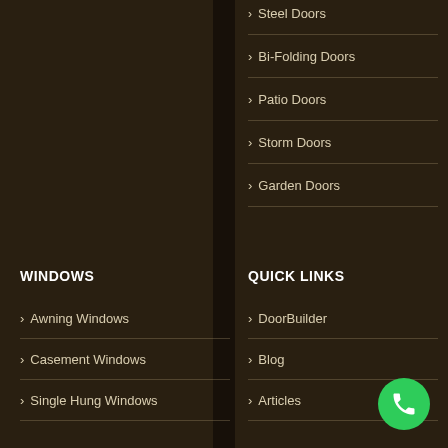Steel Doors
Bi-Folding Doors
Patio Doors
Storm Doors
Garden Doors
WINDOWS
QUICK LINKS
Awning Windows
DoorBuilder
Casement Windows
Blog
Single Hung Windows
Articles